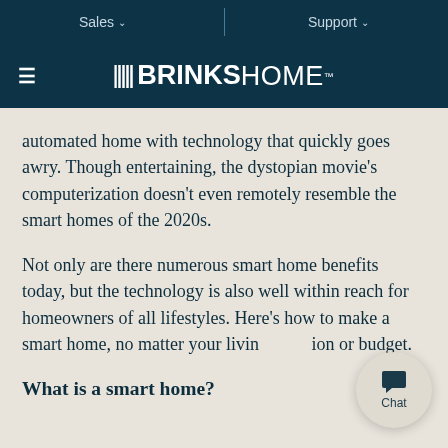Sales ∨   Support ∨
BRINKS HOME™
automated home with technology that quickly goes awry. Though entertaining, the dystopian movie's computerization doesn't even remotely resemble the smart homes of the 2020s.
Not only are there numerous smart home benefits today, but the technology is also well within reach for homeowners of all lifestyles. Here's how to make a smart home, no matter your living situation or budget.
What is a smart home?